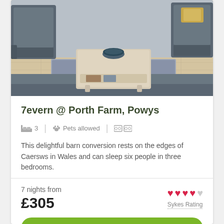[Figure (photo): Interior photo of a living room with grey recliner sofas, a light wood coffee table with a blue bowl on top, a grey area rug with yellow border, and light wood flooring.]
7evern @ Porth Farm, Powys
🛏 3  |  🐾 Pets allowed  |  📺📺
This delightful barn conversion rests on the edges of Caersws in Wales and can sleep six people in three bedrooms.
7 nights from £305
Sykes Rating (4 out of 5 hearts)
View Cottage →